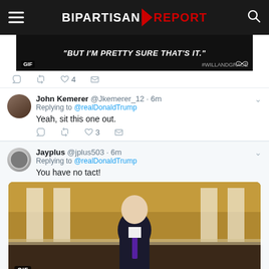Bipartisan Report
[Figure (screenshot): GIF from Will and Grace TV show with text: BUT I'M PRETTY SURE THAT'S IT.]
John Kemerer @Jkemerer_12 · 6m
Replying to @realDonaldTrump
Yeah, sit this one out.
Jayplus @jplus503 · 6m
Replying to @realDonaldTrump
You have no tact!
[Figure (photo): GIF of an older bald man in a dark suit and purple tie standing in front of classical white columns, likely John McCain.]